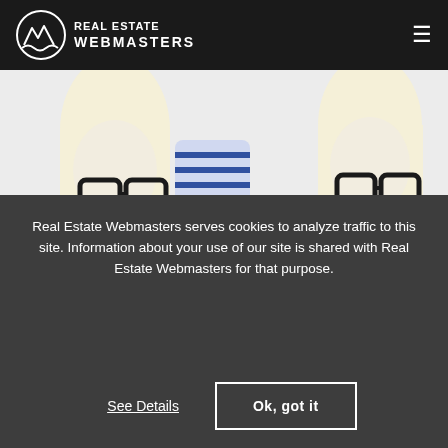[Figure (logo): Real Estate Webmasters logo with mountain/wave circle icon and white text 'REAL ESTATE WEBMASTERS' on black header bar]
[Figure (photo): Two blonde women with glasses peeking up from bottom of frame, white background, one holding a striped pillow. Website screenshot context.]
Real Estate Webmasters serves cookies to analyze traffic to this site. Information about your use of our site is shared with Real Estate Webmasters for that purpose.
See Details
Ok, got it